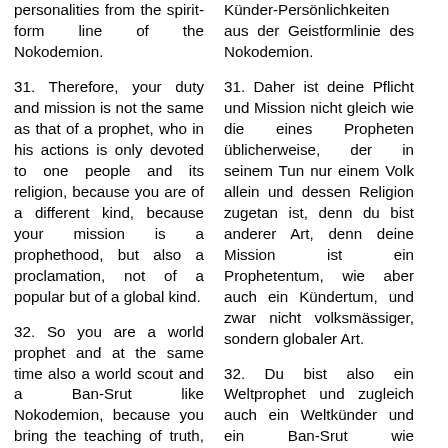personalities from the spirit-form line of the Nokodemion.
Künder-Persönlichkeiten aus der Geistformlinie des Nokodemion.
31. Therefore, your duty and mission is not the same as that of a prophet, who in his actions is only devoted to one people and its religion, because you are of a different kind, because your mission is a prophethood, but also a proclamation, not of a popular but of a global kind.
31. Daher ist deine Pflicht und Mission nicht gleich wie die eines Propheten üblicherweise, der in seinem Tun nur einem Volk allein und dessen Religion zugetan ist, denn du bist anderer Art, denn deine Mission ist ein Prophetentum, wie aber auch ein Kündertum, und zwar nicht volksmässiger, sondern globaler Art.
32. So you are a world prophet and at the same time also a world scout and a Ban-Srut like Nokodemion, because you bring the teaching of truth, teaching of the spirit, teaching of life and
32. Du bist also ein Weltprophet und zugleich auch ein Weltkünder und ein Ban-Srut wie Nokodemion, denn du bringst die Lehre der Wahrheit, Lehre des Geistes, Lehre des Lebens